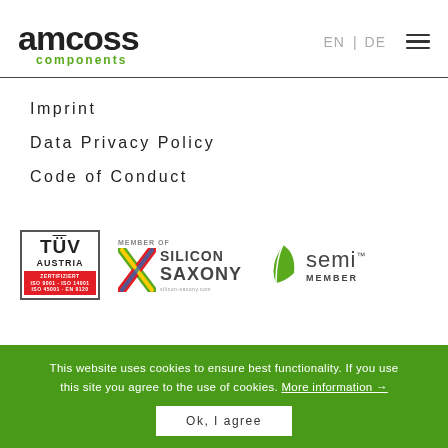[Figure (logo): amcoss components logo — bold black 'amcoss' text with green arched 'components' below]
EN | DE ≡
Imprint
Data Privacy Policy
Code of Conduct
[Figure (logo): TÜV Austria certification logo in red and black]
[Figure (logo): Member of Silicon Saxony logo with colorful X icon]
[Figure (logo): SEMI Member logo with green leaf icon]
This website uses cookies to ensure best functionality. If you use this site you agree to the use of cookies. More information →
Ok, I agree